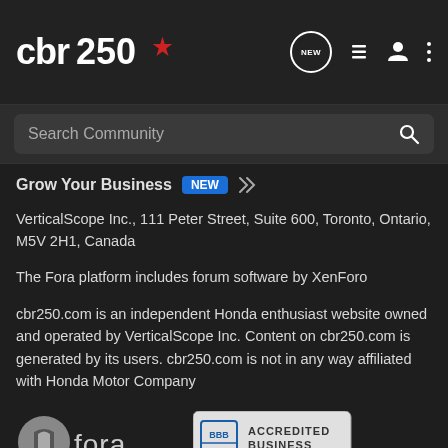CBR250 logo header with navigation icons (NEW, list, profile, more)
Search Community
Grow Your Business NEW
VerticalScope Inc., 111 Peter Street, Suite 600, Toronto, Ontario, M5V 2H1, Canada
The Fora platform includes forum software by XenForo
cbr250.com is an independent Honda enthusiast website owned and operated by VerticalScope Inc. Content on cbr250.com is generated by its users. cbr250.com is not in any way affiliated with Honda Motor Company
[Figure (logo): Fora logo (grey circle/shield icon + 'fora' text)]
[Figure (logo): BBB Accredited Business badge]